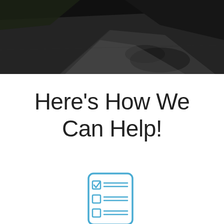[Figure (photo): Aerial/overhead view of a residential driveway with concrete pavement and asphalt, dark overlay, trees and grass visible at edges]
Here's How We Can Help!
[Figure (illustration): Blue outline icon of a checklist/clipboard with a checked checkbox at top, two unchecked checkboxes below, each with horizontal lines representing text]